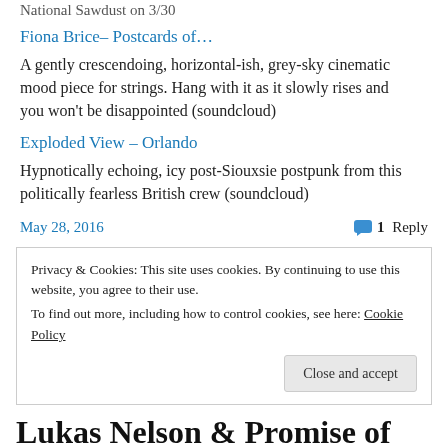National Sawdust on 3/30
Fiona Brice – Postcards of…
A gently crescendoing, horizontal-ish, grey-sky cinematic mood piece for strings. Hang with it as it slowly rises and you won't be disappointed (soundcloud)
Exploded View – Orlando
Hypnotically echoing, icy post-Siouxsie postpunk from this politically fearless British crew (soundcloud)
May 28, 2016   1 Reply
Privacy & Cookies: This site uses cookies. By continuing to use this website, you agree to their use.
To find out more, including how to control cookies, see here: Cookie Policy
Close and accept
Lukas Nelson & Promise of the